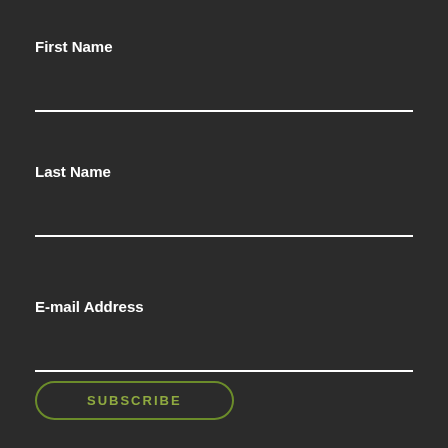First Name
Last Name
E-mail Address
SUBSCRIBE